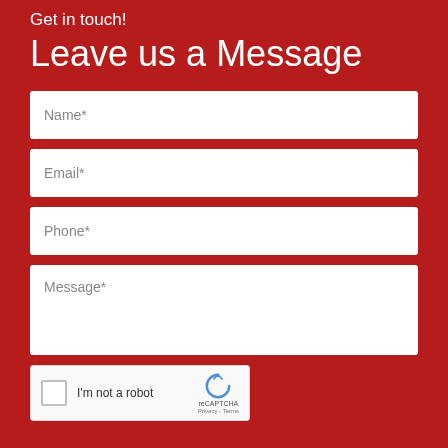Get in touch!
Leave us a Message
Name*
Email*
Phone*
Message*
[Figure (other): reCAPTCHA widget with checkbox labeled 'I'm not a robot', reCAPTCHA logo, Privacy and Terms links]